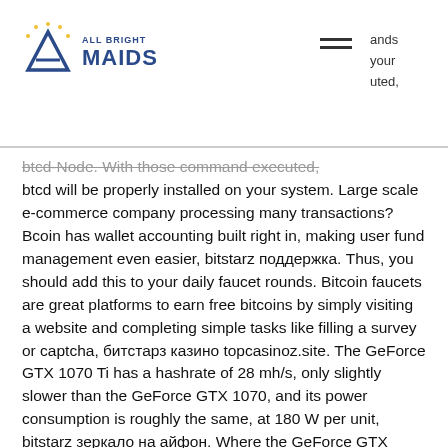All Bright Maids logo and navigation header
btcd-Node. With those command executed, btcd will be properly installed on your system. Large scale e-commerce company processing many transactions? Bcoin has wallet accounting built right in, making user fund management even easier, bitstarz поддержка. Thus, you should add this to your daily faucet rounds. Bitcoin faucets are great platforms to earn free bitcoins by simply visiting a website and completing simple tasks like filling a survey or captcha, битстарз казино topcasinoz.site. The GeForce GTX 1070 Ti has a hashrate of 28 mh/s, only slightly slower than the GeForce GTX 1070, and its power consumption is roughly the same, at 180 W per unit, bitstarz зеркало на айфон. Where the GeForce GTX 1070 Ti excels is in its overclocking capabilities. If you refer your friends after